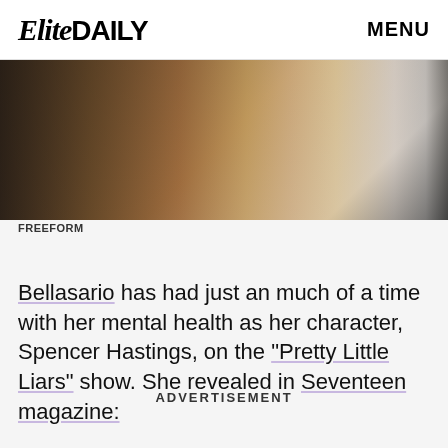Elite DAILY   MENU
[Figure (photo): Close-up photo of a person with long dark auburn/brown hair, partially visible face, blurred background with light and dark tones]
FREEFORM
Bellasario has had just an much of a time with her mental health as her character, Spencer Hastings, on the "Pretty Little Liars" show. She revealed in Seventeen magazine:
ADVERTISEMENT